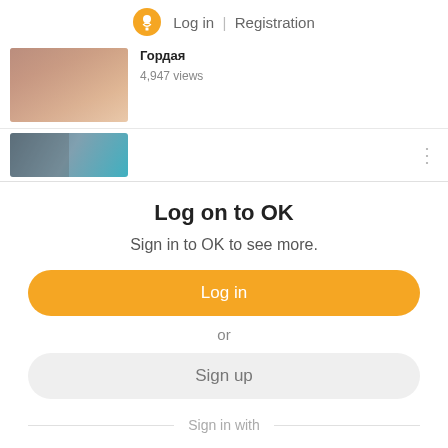Log in | Registration
[Figure (screenshot): Thumbnail image of a woman with text title in Russian and view count]
Гордая
4,947 views
[Figure (screenshot): Partial second content strip with thumbnail]
Log on to OK
Sign in to OK to see more.
Log in
or
Sign up
Sign in with
[Figure (logo): Social login icons: VK, Mail, Google, Yandex, Apple]